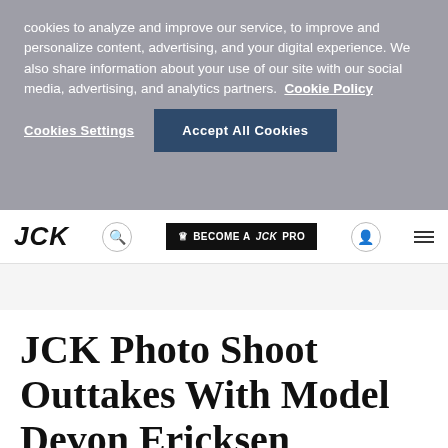cookies to analyze and improve our service, to improve and personalize content, advertising, and your digital experience. We also share information about your use of our site with our social media, advertising, and analytics partners. Cookie Policy
Cookies Settings | Accept All Cookies
JCK | BECOME A JCKPRO
JCK Photo Shoot Outtakes With Model Devon Ericksen